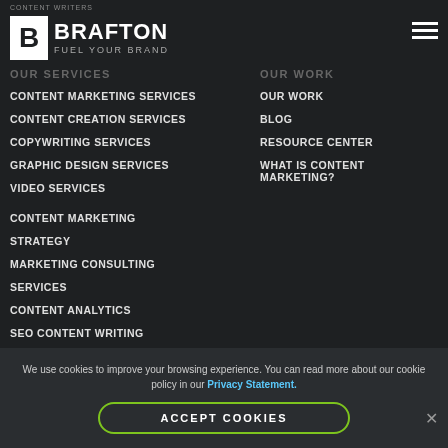CONTENT WRITERS
[Figure (logo): Brafton logo with white B in box, text BRAFTON FUEL YOUR BRAND]
OUR SERVICES | OUR WORK (navigation header labels)
CONTENT MARKETING SERVICES
CONTENT CREATION SERVICES
COPYWRITING SERVICES
GRAPHIC DESIGN SERVICES
VIDEO SERVICES
OUR WORK
BLOG
RESOURCE CENTER
WHAT IS CONTENT MARKETING?
CONTENT MARKETING STRATEGY
MARKETING CONSULTING SERVICES
CONTENT ANALYTICS
SEO CONTENT WRITING SERVICES
We use cookies to improve your browsing experience. You can read more about our cookie policy in our Privacy Statement.
ACCEPT COOKIES